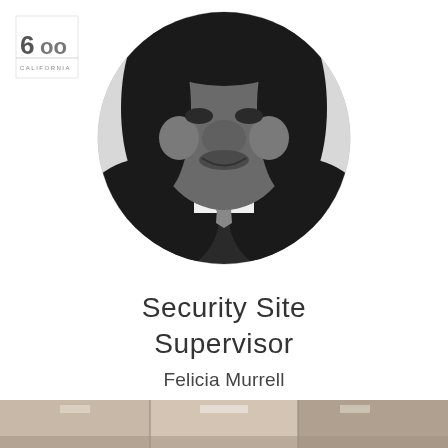[Figure (logo): 600 California logo in black and white, top left corner]
[Figure (photo): Black and white circular portrait photo of Felicia Murrell, Security Site Supervisor, wearing a jacket and striped tie]
Security Site Supervisor
Felicia Murrell
[Figure (photo): Color photo strip at the bottom of the page showing a building lobby or hallway scene]